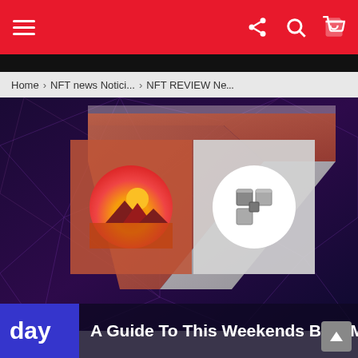Navigation header with menu icon and share/search/cart icons
Home › NFT news Notici... › NFT REVIEW N...
[Figure (illustration): Hero image showing a stylized 3D numeral 7 shape with orange/terracotta left face and light gray right face on a dark purple/blue polygon mesh background. Two panels overlay the shape: left panel shows a circular logo with sunrise/pyramid landscape in orange-red gradient; right panel shows a circular logo with a gray 3D cube/blocks icon on white background.]
A Guide To This Weekends Best M...